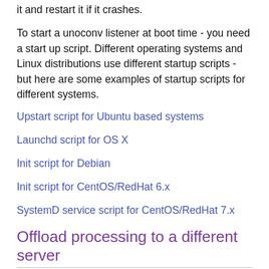it and restart it if it crashes.
To start a unoconv listener at boot time - you need a start up script. Different operating systems and Linux distributions use different startup scripts - but here are some examples of startup scripts for different systems.
Upstart script for Ubuntu based systems
Launchd script for OS X
Init script for Debian
Init script for CentOS/RedHat 6.x
SystemD service script for CentOS/RedHat 7.x
Offload processing to a different server
Processing office documents can put increased load on your webserver, which may impact on the